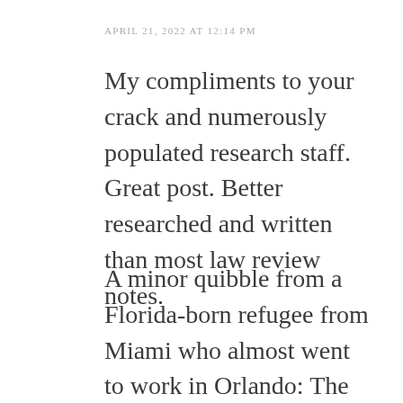APRIL 21, 2022 AT 12:14 PM
My compliments to your crack and numerously populated research staff. Great post. Better researched and written than most law review notes.
A minor quibble from a Florida-born refugee from Miami who almost went to work in Orlando: The land in Orange County is